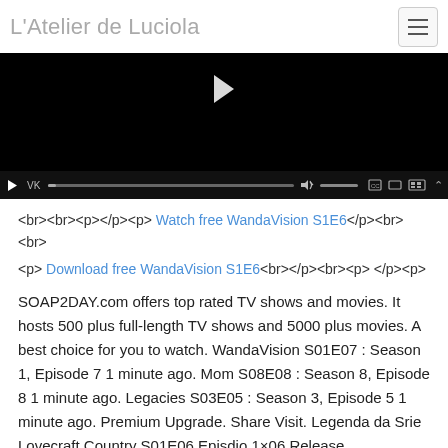L'Atelier de Luciola
[Figure (screenshot): Embedded video player showing a dark/black video frame with a play button visible at top center, and video controls bar at bottom including play button, VK label, progress bar, volume control, and playback icons.]
<br><br><p></p><p> Watch free WandaVision S1E6</p><br><br>
<p> Download free WandaVision S1E6<br></p><br><p> </p><p>
SOAP2DAY.com offers top rated TV shows and movies. It hosts 500 plus full-length TV shows and 5000 plus movies. A best choice for you to watch. WandaVision S01E07 : Season 1, Episode 7 1 minute ago. Mom S08E08 : Season 8, Episode 8 1 minute ago. Legacies S03E05 : Season 3, Episode 5 1 minute ago. Premium Upgrade. Share Visit. Legenda da Srie Lovecraft Country S01E06 Episdio 1×06 Release Lovecraft.Country.S01E06.WEBRip.x264-ION10 Lovecraft.Country.S01E06.720p.AMZN.WEB-DL.DDP5.1.H C est la faute de Charlie – (S1E6) – Bonne chance Charlie : Teddy et Gabe sont retenus par le grant d un supermarch qui accuse Charlie d avoir vol une paire de lunettes de soleil. PJ tente. Night Stalker: The